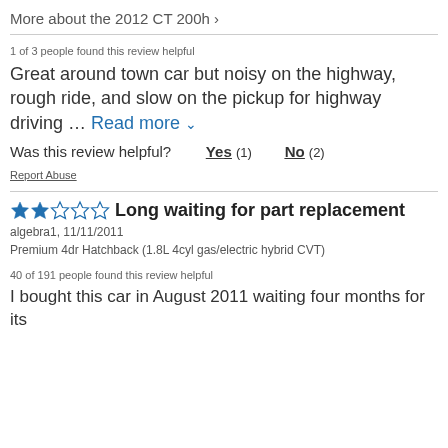More about the 2012 CT 200h >
1 of 3 people found this review helpful
Great around town car but noisy on the highway, rough ride, and slow on the pickup for highway driving … Read more
Was this review helpful?   Yes (1)   No (2)
Report Abuse
★★☆☆☆ Long waiting for part replacement
algebra1, 11/11/2011
Premium 4dr Hatchback (1.8L 4cyl gas/electric hybrid CVT)
40 of 191 people found this review helpful
I bought this car in August 2011 waiting four months for its